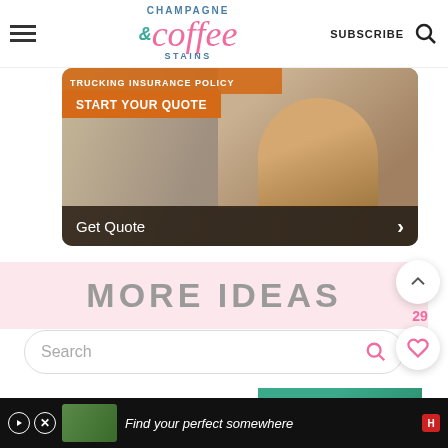[Figure (screenshot): Website header for Champagne & Coffee Stains blog with hamburger menu, logo, SUBSCRIBE text, and search icon]
[Figure (photo): Insurance advertisement banner showing 'TRUCKING INSURANCE POLICY', 'START YOUR QUOTE' button, a smiling man near trucks, and 'Get Quote' bar with chevron]
MORE IDEAS
[Figure (screenshot): Search bar with placeholder text 'Search' and pink search icon]
[Figure (screenshot): Scroll up button (chevron up), heart/like button showing count 29, save button, and pink search circle button on right side]
[Figure (screenshot): Partial image at bottom showing green banner with text 'WITH PELOTON']
[Figure (screenshot): Advertisement footer bar: 'Find your perfect somewhere' with garden/outdoor image]